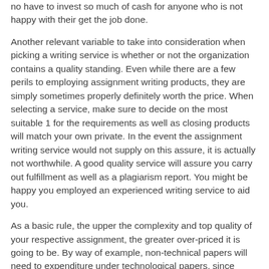no have to invest so much of cash for anyone who is not happy with their get the job done.
Another relevant variable to take into consideration when picking a writing service is whether or not the organization contains a quality standing. Even while there are a few perils to employing assignment writing products, they are simply sometimes properly definitely worth the price. When selecting a service, make sure to decide on the most suitable 1 for the requirements as well as closing products will match your own private. In the event the assignment writing service would not supply on this assure, it is actually not worthwhile. A good quality service will assure you carry out fulfillment as well as a plagiarism report. You might be happy you employed an experienced writing service to aid you.
As a basic rule, the upper the complexity and top quality of your respective assignment, the greater over-priced it is going to be. By way of example, non-technical papers will need to expenditure under technological papers, since technological paper writing demands greater groundwork than non-technical assignments.